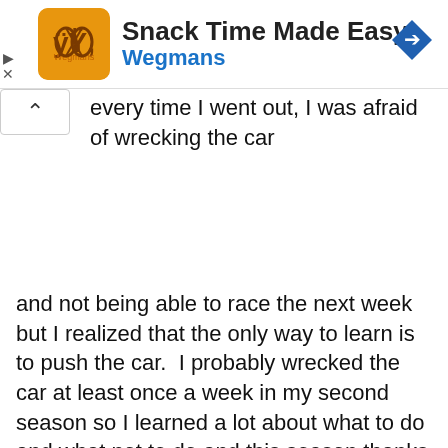[Figure (illustration): Wegmans ad banner: orange app icon with decorative logo, bold title 'Snack Time Made Easy', blue subtitle 'Wegmans', blue diamond navigation arrow icon top right, play/close controls bottom left]
every time I went out, I was afraid of wrecking the car and not being able to race the next week but I realized that the only way to learn is to push the car.  I probably wrecked the car at least once a week in my second season so I learned a lot about what to do and what not to do and this season thanks to Casagrande Builders and Rob
We use cookies on our website to give you the most relevant experience by remembering your preferences and repeat visits. By clicking “Accept”, you consent to the use of ALL the cookies.
Do not sell my personal information.
Cookie Settings
Accept